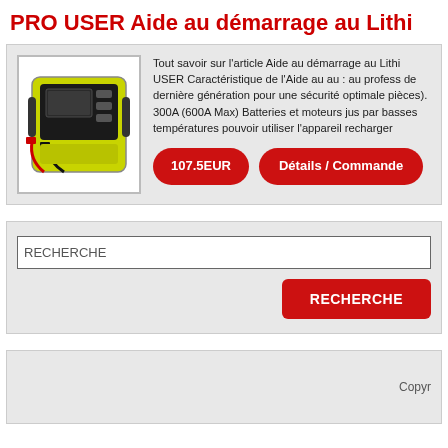PRO USER Aide au démarrage au Lithi
[Figure (photo): A yellow and black lithium battery jump starter device with red and black clamps, shown in a white-bordered product image box.]
Tout savoir sur l'article Aide au démarrage au Lithi USER Caractéristique de l'Aide au au : au profess de dernière génération pour une sécurité optimale pièces). 300A (600A Max) Batteries et moteurs jus par basses températures pouvoir utiliser l'appareil recharger
107.5EUR
Détails / Commande
RECHERCHE
RECHERCHE
Copyr